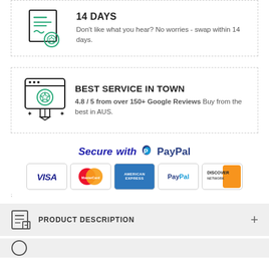[Figure (illustration): Certificate/badge icon with lines and a ribbon seal, in black and teal outline style]
14 DAYS
Don't like what you hear? No worries - swap within 14 days.
[Figure (illustration): Browser window with a star badge/ribbon icon in black and teal outline style]
BEST SERVICE IN TOWN
4.8 / 5 from over 150+ Google Reviews Buy from the best in AUS.
[Figure (infographic): Secure with PayPal logo and payment card badges: VISA, MasterCard, American Express, PayPal, Discover Network]
;
PRODUCT DESCRIPTION